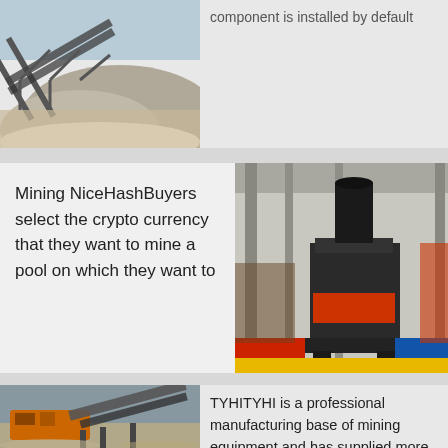[Figure (photo): Outdoor mining conveyor belt system carrying crushed stone/ore on a hillside]
component is installed by default
Mining NiceHashBuyers select the crypto currency that they want to mine a pool on which they want to
[Figure (photo): Large industrial mining crushing machine inside a factory/warehouse with red and blue colored base]
[Figure (photo): Orange and gray mining screening/sorting equipment with conveyor belts in an open pit mine setting]
TYHITYHI is a professional manufacturing base of mining equipment and has supplied more